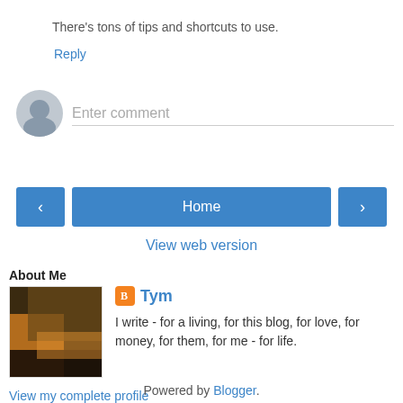There's tons of tips and shortcuts to use.
Reply
[Figure (other): Comment input area with user avatar circle and 'Enter comment' placeholder text field]
[Figure (other): Navigation buttons: left arrow, Home, right arrow]
View web version
About Me
[Figure (photo): Profile photo showing blurred amber/dark tones]
Tym
I write - for a living, for this blog, for love, for money, for them, for me - for life.
View my complete profile
Powered by Blogger.